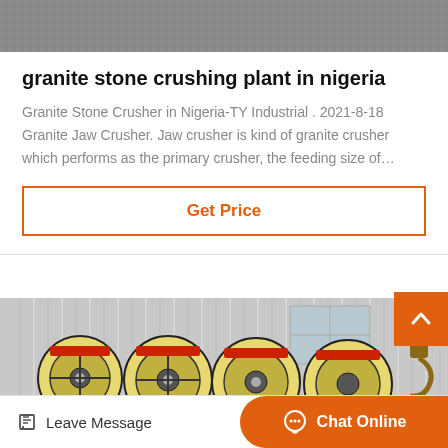[Figure (photo): Close-up of grey textured surface, partial top image]
granite stone crushing plant in nigeria
Granite Stone Crusher in Nigeria-TY Industrial . 2021-8-18 Granite Jaw Crusher. Jaw crusher is kind of granite crusher which performs as the primary crusher, the feeding size of…
Get Price
[Figure (photo): Industrial machinery — multiple large cylindrical reels/spools (yellow and red) arranged in a row inside a factory building with corrugated metal walls and windows]
Leave Message
Chat Online